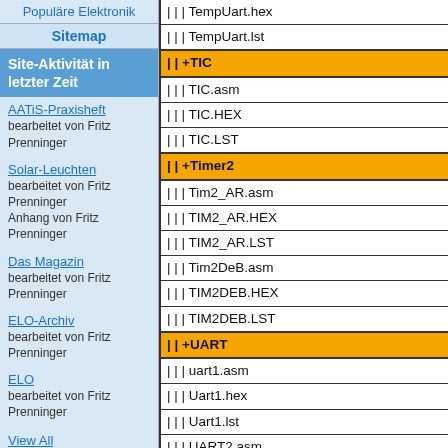Populäre Elektronik
Sitemap
Site-Aktivität in letzter Zeit
AATiS-Praxisheft
bearbeitet von Fritz Prenninger
Solar-Leuchten
bearbeitet von Fritz Prenninger
Anhang von Fritz Prenninger
Das Magazin
bearbeitet von Fritz Prenninger
ELO-Archiv
bearbeitet von Fritz Prenninger
ELO
bearbeitet von Fritz Prenninger
View All
| | | TempUart.hex
| | | TempUart.lst
| | +TIC
| | | TIC.asm
| | | TIC.HEX
| | | TIC.LST
| | +Timer2
| | | Tim2_AR.asm
| | | TIM2_AR.HEX
| | | TIM2_AR.LST
| | | Tim2DeB.asm
| | | TIM2DEB.HEX
| | | TIM2DEB.LST
| | +UART
| | | uart1.asm
| | | Uart1.hex
| | | Uart1.lst
| | | UART2.asm
| | | Uart2.hex
| | | Uart2.lst
| | | UART3.asm
| | | UART3.HEX